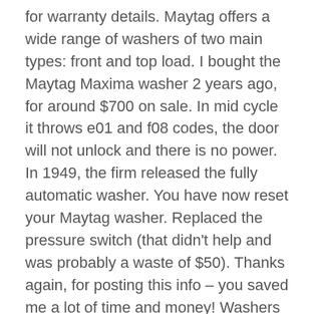for warranty details. Maytag offers a wide range of washers of two main types: front and top load. I bought the Maytag Maxima washer 2 years ago, for around $700 on sale. In mid cycle it throws e01 and f08 codes, the door will not unlock and there is no power. In 1949, the firm released the fully automatic washer. You have now reset your Maytag washer. Replaced the pressure switch (that didn't help and was probably a waste of $50). Thanks again, for posting this info – you saved me a lot of time and money! Washers and dryers such as those by Maytag have filters to catch lint. By selecting this, all functions of the machine will reset to what the machine was originally set at the factory. This manual comes under the category Washing Machines and has been rated by 1 people with an average of a 8.8. Find helpful customer reviews and review ratings for Maytag Maxima XL Front Load